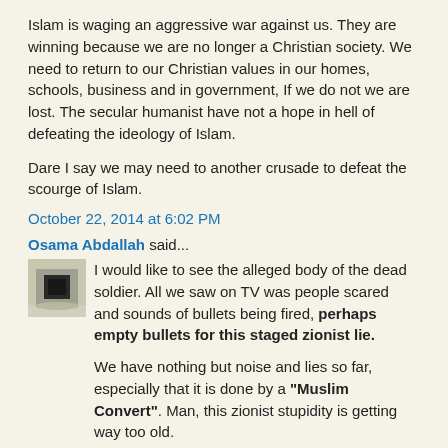Islam is waging an aggressive war against us. They are winning because we are no longer a Christian society. We need to return to our Christian values in our homes, schools, business and in government, If we do not we are lost. The secular humanist have not a hope in hell of defeating the ideology of Islam.

Dare I say we may need to another crusade to defeat the scourge of Islam.
October 22, 2014 at 6:02 PM
Osama Abdallah said...
[Figure (photo): Small avatar image showing a dark building (Kaaba) against a light background]
I would like to see the alleged body of the dead soldier. All we saw on TV was people scared and sounds of bullets being fired, perhaps empty bullets for this staged zionist lie.

We have nothing but noise and lies so far, especially that it is done by a "Muslim Convert". Man, this zionist stupidity is getting way too old.